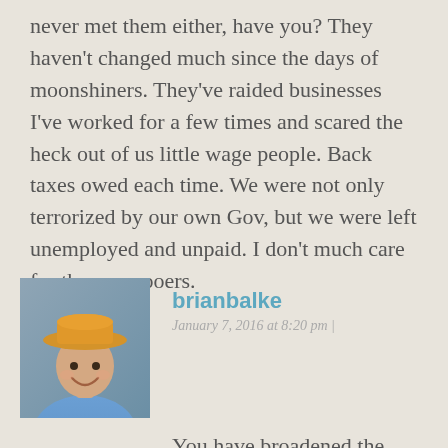never met them either, have you? They haven't changed much since the days of moonshiners. They've raided businesses I've worked for a few times and scared the heck out of us little wage people. Back taxes owed each time. We were not only terrorized by our own Gov, but we were left unemployed and unpaid. I don't much care for the revenooers.
[Figure (photo): Avatar photo of brianbalke: a smiling man wearing a yellow/orange hat and a blue shirt, against a grey background.]
brianbalke
January 7, 2016 at 8:20 pm |
You have broadened the context of analysis, IB, far beyond the focus of my comments or the